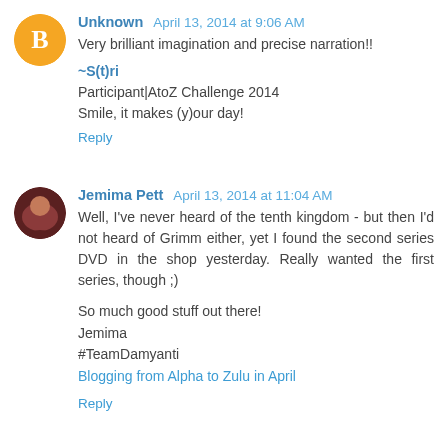Unknown April 13, 2014 at 9:06 AM
Very brilliant imagination and precise narration!!
~S(t)ri
Participant|AtoZ Challenge 2014
Smile, it makes (y)our day!
Reply
Jemima Pett April 13, 2014 at 11:04 AM
Well, I've never heard of the tenth kingdom - but then I'd not heard of Grimm either, yet I found the second series DVD in the shop yesterday. Really wanted the first series, though ;)
So much good stuff out there!
Jemima
#TeamDamyanti
Blogging from Alpha to Zulu in April
Reply